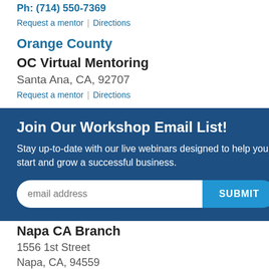Ph: (714) 550-7369
Request a mentor | Directions
Orange County
OC Virtual Mentoring
Santa Ana, CA, 92707
Request a mentor | Directions
[Figure (other): Modal popup overlay with dark blue background containing 'Join Our Workshop Email List!' heading, descriptive text about live webinars, an email address input field, and a SUBMIT button]
North Coast
Napa CA Branch
1556 1st Street
Napa, CA, 94559